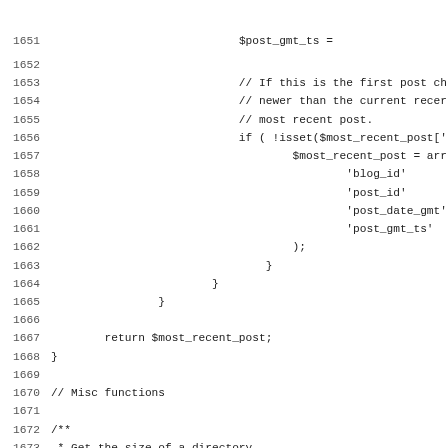[Figure (screenshot): Source code listing lines 1651-1683 showing PHP code with line numbers on the left and code on the right, including comments and function definitions]